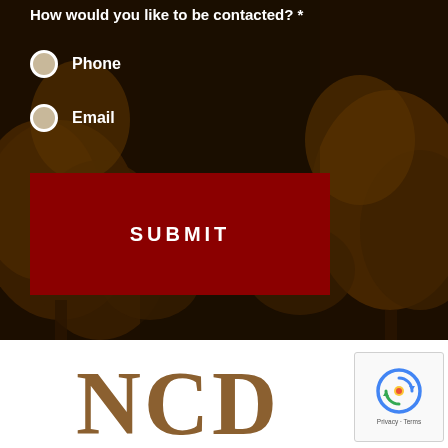How would you like to be contacted? *
Phone
Email
SUBMIT
[Figure (logo): NCD logo letters in brown serif font on white background]
[Figure (other): reCAPTCHA widget showing circular arrow icon with Privacy · Terms text]